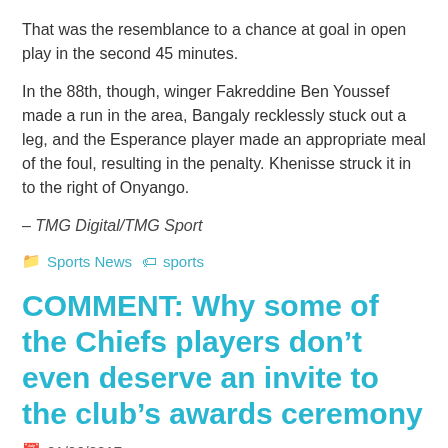That was the resemblance to a chance at goal in open play in the second 45 minutes.
In the 88th, though, winger Fakreddine Ben Youssef made a run in the area, Bangaly recklessly stuck out a leg, and the Esperance player made an appropriate meal of the foul, resulting in the penalty. Khenisse struck it in to the right of Onyango.
– TMG Digital/TMG Sport
🗂 Sports News 🏷 sports
COMMENT: Why some of the Chiefs players don't even deserve an invite to the club's awards ceremony
📅 01/06/2017